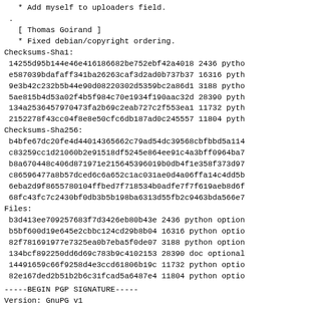* Add myself to uploaders field.
.
[ Thomas Goirand ]
* Fixed debian/copyright ordering.
Checksums-Sha1:
 14255d95b144e46e416186682be752ebf42a4018 2436 pytho
 e587039bdafaff341ba26263caf3d2ad0b737b37 16316 pyth
 9e3b42c232b5b44e90d08220302d5359bc2a86d1 3188 pytho
 5ae815b4d53a02f4b5f984c70e1934f190aac32d 28390 pyth
 134a2536457970473fa2b69c2eab727c2f553ea1 11732 pyth
 2152278f43cc04f8e8e50cfc6db187ad0c245557 11804 pyth
Checksums-Sha256:
 b4bfe67dc20fe4d44014365662c79ad54dc39568cbfbbd5a114
 c83259cc1d21060b2e91518df5245e864ee91c4a3bff0964ba7
 b8a670448c406d871971e215645396019b0db4f1e358f373d97
 c86596477a8b57dced6c6a652c1ac031ae0d4a06ffa14c4dd5b
 6eba2d9f8655780104ffbed7f718534b0adfe7f7f619aeb8d6f
 68fc43fc7c2430bf0db3b5b198ba6313d55fb2c9463bda566e7
Files:
 b3d413ee709257683f7d3426eb80b43e 2436 python option
 b5bf600d19e645e2cbbc124cd29b8b04 16316 python optio
 82f781691977e7325ea0b7eba5f0de07 3188 python option
 134bcf892250dd6d69c783b9c4102153 28390 doc optional
 14491659c66f9258d4e3ccd61806b19c 11732 python optio
 82e167ded2b51b2b6c31fcad5a6487e4 11804 python optio
-----BEGIN PGP SIGNATURE-----
Version: GnuPG v1